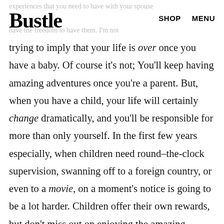Bustle   SHOP   MENU
trying to imply that your life is over once you have a baby. Of course it's not; You'll keep having amazing adventures once you're a parent. But, when you have a child, your life will certainly change dramatically, and you'll be responsible for more than only yourself. In the first few years especially, when children need round–the-clock supervision, swanning off to a foreign country, or even to a movie, on a moment's notice is going to be a lot harder. Children offer their own rewards, but don't miss out on enjoying the amazing possibilities of your life right now. Take the time to do these things with your new spouse while you're still a two-some.